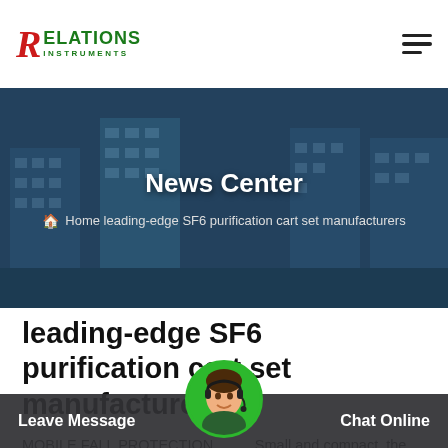[Figure (logo): Relations Instruments logo with red italic R and green RELATIONS INSTRUMENTS text]
[Figure (photo): Industrial building / factory complex hero banner image with dark blue overlay]
News Center
Home leading-edge SF6 purification cart set manufacturers
leading-edge SF6 purification cart set manufacturers
MOBILE FALL PROTECTION UNIT Small and compact, the Sting person st and 1 p raint.
Leave Message
Chat Online